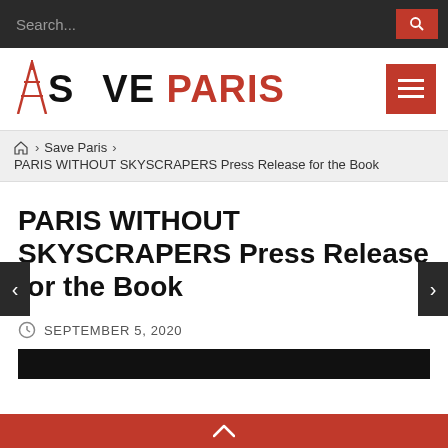Search...
[Figure (logo): Save Paris website logo with Eiffel Tower icon, SAVE in black, PARIS in red]
PARIS WITHOUT SKYSCRAPERS Press Release for the Book
PARIS WITHOUT SKYSCRAPERS Press Release for the Book
SEPTEMBER 5, 2020